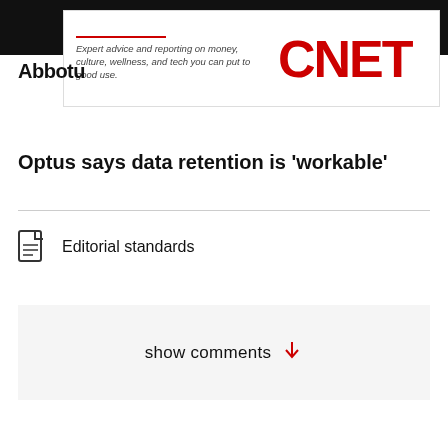[Figure (other): CNET advertisement banner with text 'Expert advice and reporting on money, culture, wellness, and tech you can put to good use.' and CNET logo in red]
Abbot...
Optus says data retention is 'workable'
Editorial standards
show comments